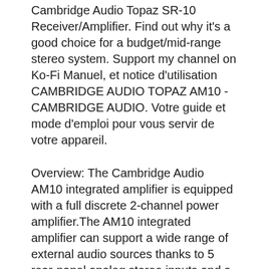Cambridge Audio Topaz SR-10 Receiver/Amplifier. Find out why it's a good choice for a budget/mid-range stereo system. Support my channel on Ko-Fi Manuel, et notice d'utilisation CAMBRIDGE AUDIO TOPAZ AM10 - CAMBRIDGE AUDIO. Votre guide et mode d'emploi pour vous servir de votre appareil.
Overview: The Cambridge Audio AM10 integrated amplifier is equipped with a full discrete 2-channel power amplifier.The AM10 integrated amplifier can support a wide range of external audio sources thanks to 5 rear-panel analog stereo inputs and a front-panel 3.5mm auxiliary input. More di...